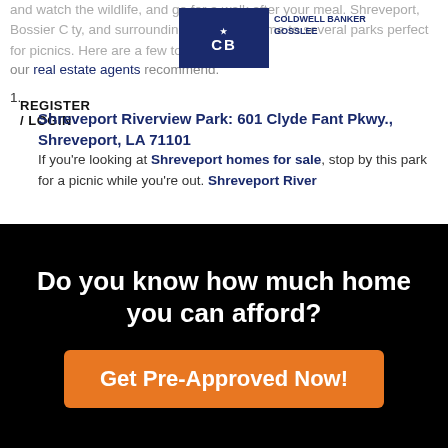COLDWELL BANKER GOSSLEE
and watch the wildlife, and go for a walk after your meal. Shreveport, Bossier City, and surrounding areas are home to several parks perfect for picnics. Here are a few top options our real estate agents recommend.
REGISTER / LOGIN
Shreveport Riverview Park: 601 Clyde Fant Pkwy., Shreveport, LA 71101 — If you're looking at Shreveport homes for sale, stop by this park for a picnic while you're out. Shreveport River
Do you know how much home you can afford?
Get Pre-Approved Now!